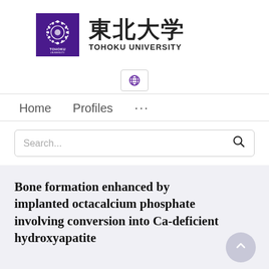[Figure (logo): Tohoku University logo: purple square with circular emblem and text TOHOKU UNIVERSITY, with Japanese kanji characters 東北大学]
[Figure (other): Globe/language selector icon button]
Home   Profiles   ...
Search...
Bone formation enhanced by implanted octacalcium phosphate involving conversion into Ca-deficient hydroxyapatite